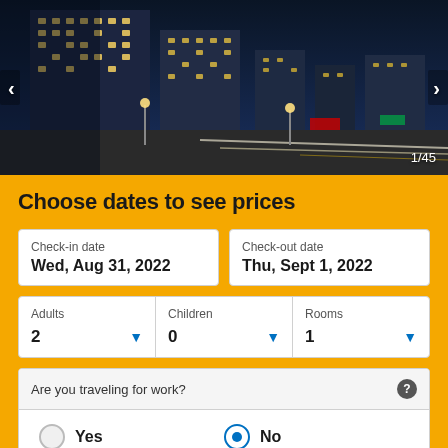[Figure (photo): Night city scene with tall illuminated office buildings and a wide street with car light trails, Tokyo cityscape at dusk]
Choose dates to see prices
Check-in date: Wed, Aug 31, 2022 | Check-out date: Thu, Sept 1, 2022
Adults: 2 | Children: 0 | Rooms: 1
Are you traveling for work? Yes (unselected) No (selected)